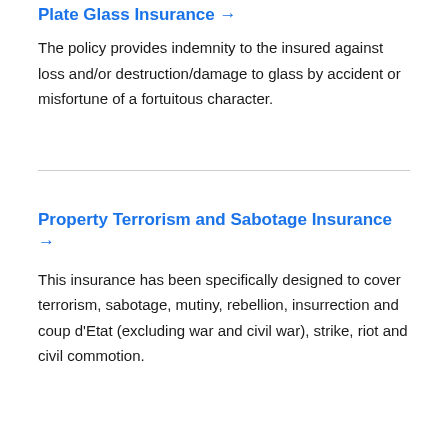Plate Glass Insurance →
The policy provides indemnity to the insured against loss and/or destruction/damage to glass by accident or misfortune of a fortuitous character.
Property Terrorism and Sabotage Insurance →
This insurance has been specifically designed to cover terrorism, sabotage, mutiny, rebellion, insurrection and coup d'Etat (excluding war and civil war), strike, riot and civil commotion.